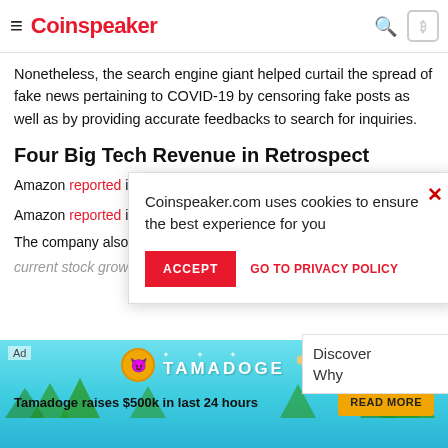Coinspeaker
Nonetheless, the search engine giant helped curtail the spread of fake news pertaining to COVID-19 by censoring fake posts as well as by providing accurate feedbacks to search for inquiries.
Four Big Tech Revenue in Retrospect
Amazon reported its growth $88.9 billion representing the co...
The company also sa... current stock growth...
[Figure (screenshot): Cookie consent popup from Coinspeaker.com with Accept button and Go to Privacy Policy link]
[Figure (screenshot): Discover Why widget popup in lower right]
[Figure (infographic): Tamadoge advertisement banner at bottom - Tamadoge raises $500k in last 24 hours - with Read More button]